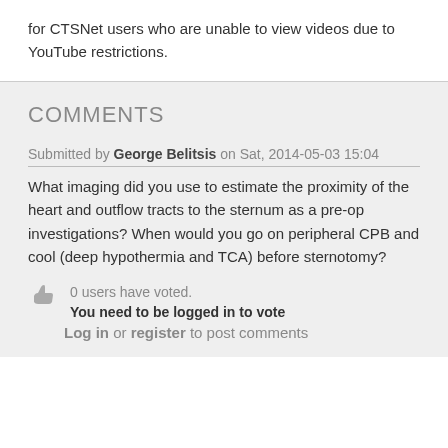for CTSNet users who are unable to view videos due to YouTube restrictions.
COMMENTS
Submitted by George Belitsis on Sat, 2014-05-03 15:04
What imaging did you use to estimate the proximity of the heart and outflow tracts to the sternum as a pre-op investigations? When would you go on peripheral CPB and cool (deep hypothermia and TCA) before sternotomy?
0 users have voted.
You need to be logged in to vote
Log in or register to post comments